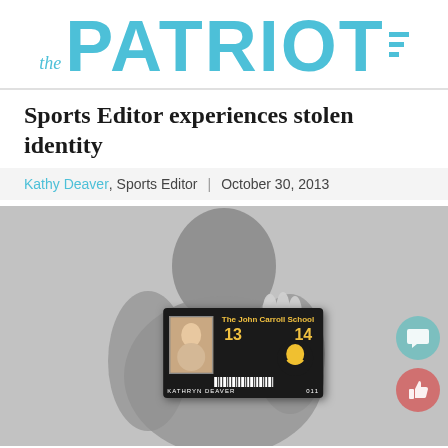the PATRIOT
Sports Editor experiences stolen identity
Kathy Deaver, Sports Editor | October 30, 2013
[Figure (photo): Black and white photo of a man holding up a John Carroll School student ID card belonging to KATHRYN DEAVER, showing years 13-14. Social media comment and like buttons visible on right side.]